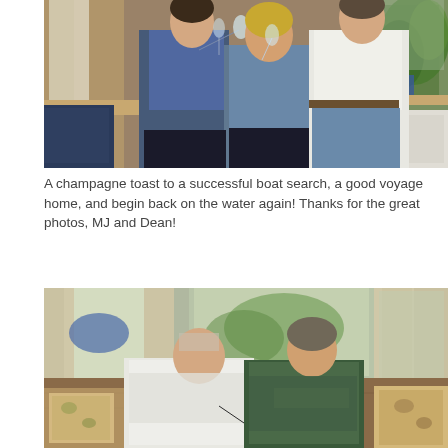[Figure (photo): Three people standing together inside a boat cabin, raising champagne glasses in a toast. The person on the left wears a blue shirt, the middle person wears a blue patterned blouse, and the person on the right wears a white shirt. Wood paneling and a plant are visible in the background.]
A champagne toast to a successful boat search, a good voyage home, and begin back on the water again! Thanks for the great photos, MJ and Dean!
[Figure (photo): Two men sitting inside a boat cabin, leaning over and signing documents on paperwork. One man wears a white polo shirt and the other a dark green shirt. Curtained windows and cushioned seating are visible in the background.]